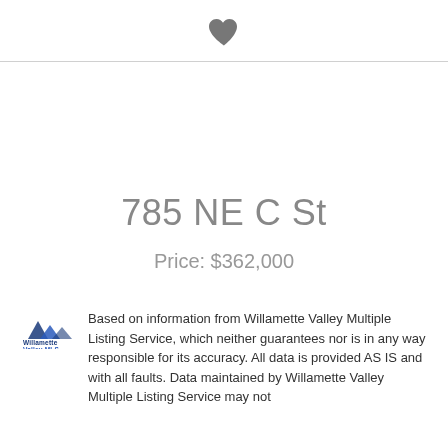[Figure (illustration): Heart/favorite icon centered at top]
785 NE C St
Price: $362,000
Based on information from Willamette Valley Multiple Listing Service, which neither guarantees nor is in any way responsible for its accuracy. All data is provided AS IS and with all faults. Data maintained by Willamette Valley Multiple Listing Service may not